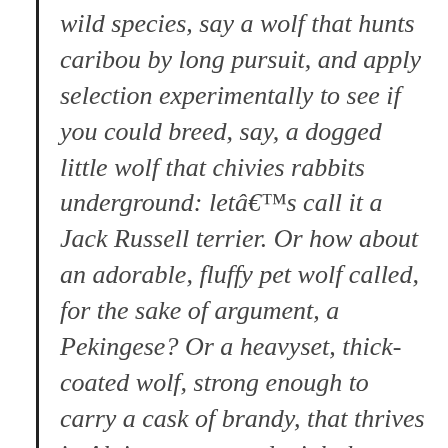wild species, say a wolf that hunts caribou by long pursuit, and apply selection experimentally to see if you could breed, say, a dogged little wolf that chivies rabbits underground: letâ€™s call it a Jack Russell terrier. Or how about an adorable, fluffy pet wolf called, for the sake of argument, a Pekingese? Or a heavyset, thick-coated wolf, strong enough to carry a cask of brandy, that thrives in Alpine passes and might be named after one of them, the St. Bernard? Behe has to predict that youâ€™d wait till hell freezes over, but the necessary mutations would not be forthcoming. Your wolves